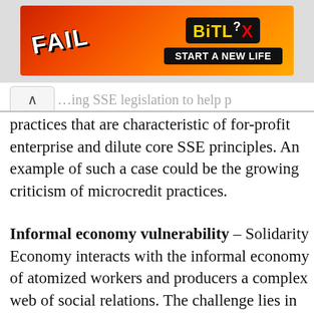[Figure (illustration): BitLife mobile game advertisement banner with 'FAIL' text, cartoon character, fire graphics, and 'START A NEW LIFE' tagline]
practices that are characteristic of for-profit enterprise and dilute core SSE principles. An example of such a case could be the growing criticism of microcredit practices.
Informal economy vulnerability – Solidarity Economy interacts with the informal economy of atomized workers and producers a complex web of social relations. The challenge lies in